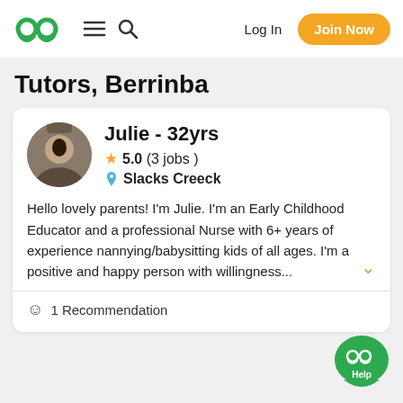Log In | Join Now
Tutors, Berrinba
Julie - 32yrs
★ 5.0 (3 jobs)
📍 Slacks Creeck

Hello lovely parents! I'm Julie. I'm an Early Childhood Educator and a professional Nurse with 6+ years of experience nannying/babysitting kids of all ages. I'm a positive and happy person with willingness...
1 Recommendation